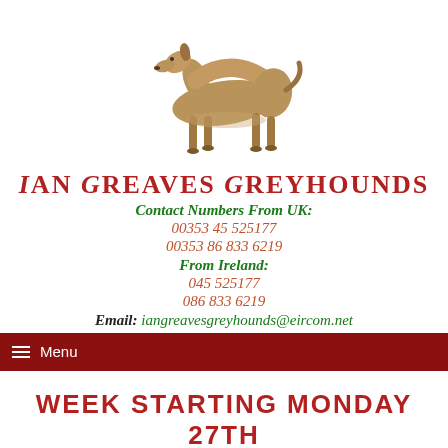[Figure (illustration): Illustration of a greyhound dog standing in profile, facing left, with tan/brown coloring]
Ian Greaves Greyhounds
Contact Numbers From UK:
00353 45 525177
00353 86 833 6219
From Ireland:
045 525177
086 833 6219
Email: iangreavesgreyhounds@eircom.net
Menu
WEEK STARTING MONDAY 27TH